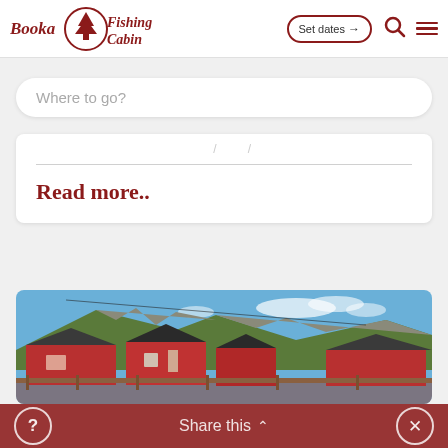[Figure (logo): BookaFishingCabin logo with tree icon and stylized red text]
Set dates →
Where to go?
Read more..
[Figure (photo): Red Norwegian fishing cabins (rorbuer) on stilts over water with green rocky hillside and blue sky in background]
Share this ∧